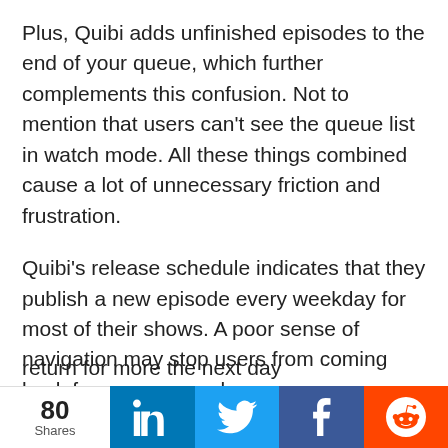Plus, Quibi adds unfinished episodes to the end of your queue, which further complements this confusion. Not to mention that users can't see the queue list in watch mode. All these things combined cause a lot of unnecessary friction and frustration.
Quibi's release schedule indicates that they publish a new episode every weekday for most of their shows. A poor sense of navigation may stop users from coming back for more every day.
If the service indicated the total number of episodes, it would be able to trigger this pattern successfully. Also, a more visible message about
return for more the next day